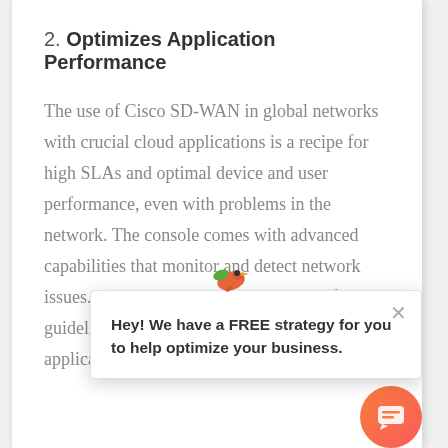2. Optimizes Application Performance
The use of Cisco SD-WAN in global networks with crucial cloud applications is a recipe for high SLAs and optimal device and user performance, even with problems in the network. The console comes with advanced capabilities that monitor and detect network issues. It also comes with centralized software guidelines that monitor crucial cloud applications over potentially arising